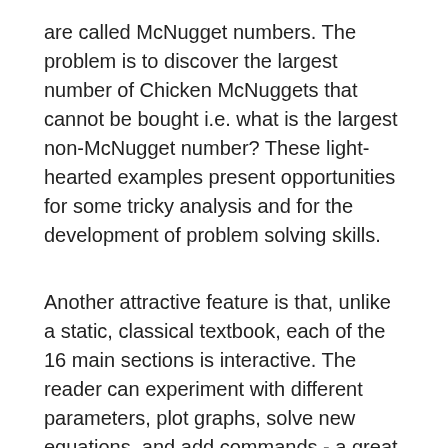are called McNugget numbers. The problem is to discover the largest number of Chicken McNuggets that cannot be bought i.e. what is the largest non-McNugget number? These light-hearted examples present opportunities for some tricky analysis and for the development of problem solving skills.
Another attractive feature is that, unlike a static, classical textbook, each of the 16 main sections is interactive. The reader can experiment with different parameters, plot graphs, solve new equations, and add commands - a great learning experience. Also, the reader is never patronised and many recent results are described as well as some unsolved problems.
Brief biographies and many pictures of more than 40 mathematicians from Archimedes to Andrew Wiles (who